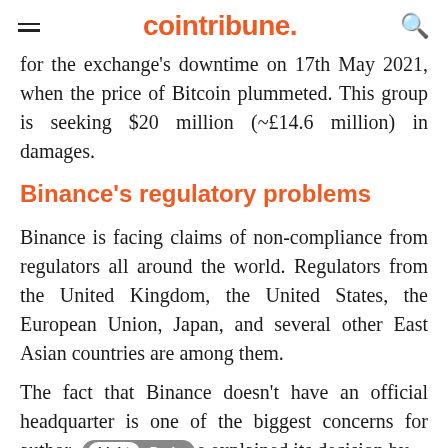cointribune.
for the exchange's downtime on 17th May 2021, when the price of Bitcoin plummeted. This group is seeking $20 million (~£14.6 million) in damages.
Binance's regulatory problems
Binance is facing claims of non-compliance from regulators all around the world. Regulators from the United Kingdom, the United States, the European Union, Japan, and several other East Asian countries are among them.
The fact that Binance doesn't have an official headquarter is one of the biggest concerns for author. [Light/Dark toggle] e explained its decision by